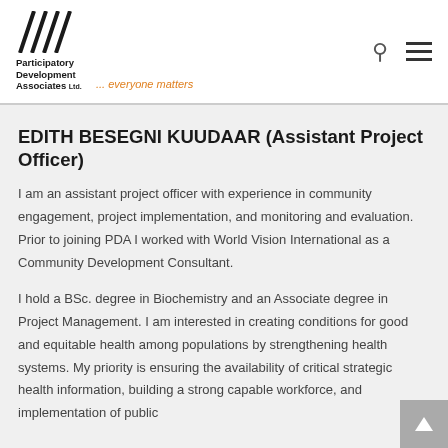Participatory Development Associates Ltd. ... everyone matters
EDITH BESEGNI KUUDAAR (Assistant Project Officer)
I am an assistant project officer with experience in community engagement, project implementation, and monitoring and evaluation. Prior to joining PDA I worked with World Vision International as a Community Development Consultant.
I hold a BSc. degree in Biochemistry and an Associate degree in Project Management. I am interested in creating conditions for good and equitable health among populations by strengthening health systems. My priority is ensuring the availability of critical strategic health information, building a strong capable workforce, and implementation of public health...